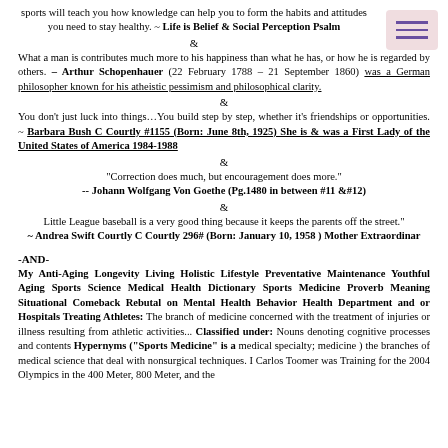sports will teach you how knowledge can help you to form the habits and attitudes you need to stay healthy. ~ Life is Belief & Social Perception Psalm
&
What a man is contributes much more to his happiness than what he has, or how he is regarded by others. – Arthur Schopenhauer (22 February 1788 – 21 September 1860) was a German philosopher known for his atheistic pessimism and philosophical clarity.
&
You don't just luck into things…You build step by step, whether it's friendships or opportunities. ~ Barbara Bush C Courtly #1155 (Born: June 8th, 1925) She is & was a First Lady of the United States of America 1984-1988
&
"Correction does much, but encouragement does more." -- Johann Wolfgang Von Goethe (Pg.1480 in between #11 &#12)
&
Little League baseball is a very good thing because it keeps the parents off the street." ~ Andrea Swift Courtly C Courtly 296# (Born: January 10, 1958 ) Mother Extraordinar
-AND-
My Anti-Aging Longevity Living Holistic Lifestyle Preventative Maintenance Youthful Aging Sports Science Medical Health Dictionary Sports Medicine Proverb Meaning Situational Comeback Rebutal on Mental Health Behavior Health Department and or Hospitals Treating Athletes: The branch of medicine concerned with the treatment of injuries or illness resulting from athletic activities... Classified under: Nouns denoting cognitive processes and contents Hypernyms ("Sports Medicine" is a medical specialty; medicine ) the branches of medical science that deal with nonsurgical techniques. I Carlos Toomer was Training for the 2004 Olympics in the 400 Meter, 800 Meter, and the